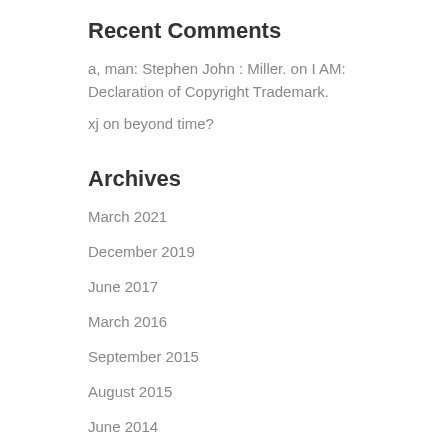Recent Comments
a, man: Stephen John : Miller. on I AM: Declaration of Copyright Trademark.
xj on beyond time?
Archives
March 2021
December 2019
June 2017
March 2016
September 2015
August 2015
June 2014
November 2013
January 2013